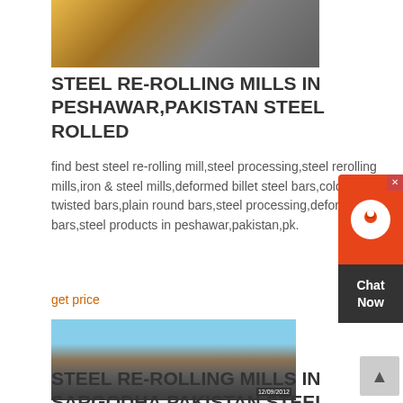[Figure (photo): Industrial machinery photo - steel mill equipment with yellow and grey components]
STEEL RE-ROLLING MILLS IN PESHAWAR,PAKISTAN STEEL ROLLED
find best steel re-rolling mill,steel processing,steel rerolling mills,iron & steel mills,deformed billet steel bars,cold worked twisted bars,plain round bars,steel processing,deformed steel bars,steel products in peshawar,pakistan,pk.
get price
[Figure (photo): Outdoor steel rolling mill facility with conveyor belts and steel plates on ground, dated 12/09/2012]
STEEL RE-ROLLING MILLS IN SARGODHA,PAKISTAN STEEL ROLLED